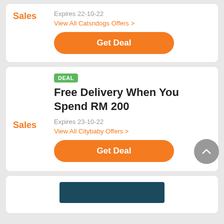Sales
Expires 22-10-22
View All Catsndogs Offers >
Get Deal
DEAL
Free Delivery When You Spend RM 200
Sales
Expires 23-10-22
View All Citybaby Offers >
Get Deal